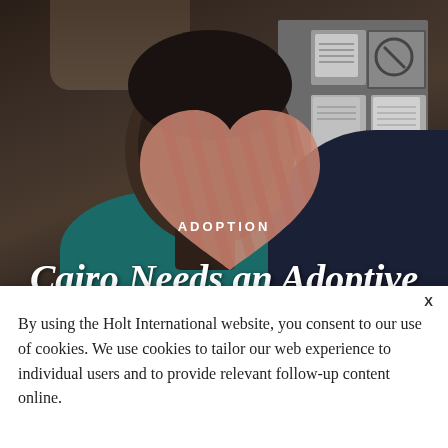[Figure (photo): Photo of a child with a heart-shaped mask covering their face, overlaid with the text 'ADOPTION' and 'Cairo Needs an Adoptive' on a dark background. The child is wearing a teal shirt. Behind them is a bulletin board with signs.]
By using the Holt International website, you consent to our use of cookies. We use cookies to tailor our web experience to individual users and to provide relevant follow-up content online.